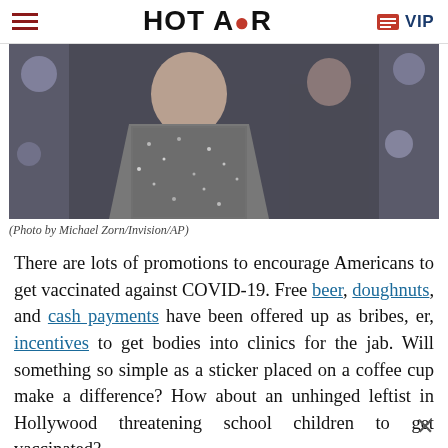HOT AIR | VIP
[Figure (photo): Person in sparkly/sequined outfit on stage, with bokeh lights in background. Photo by Michael Zorn/Invision/AP.]
(Photo by Michael Zorn/Invision/AP)
There are lots of promotions to encourage Americans to get vaccinated against COVID-19. Free beer, doughnuts, and cash payments have been offered up as bribes, er, incentives to get bodies into clinics for the jab. Will something so simple as a sticker placed on a coffee cup make a difference? How about an unhinged leftist in Hollywood threatening school children to get vaccinated?